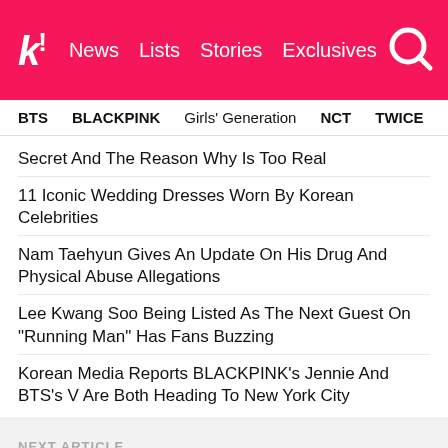Koreaboo | News  Lists  Stories  Exclusives
BTS  BLACKPINK  Girls' Generation  NCT  TWICE  aespa
Secret And The Reason Why Is Too Real
11 Iconic Wedding Dresses Worn By Korean Celebrities
Nam Taehyun Gives An Update On His Drug And Physical Abuse Allegations
Lee Kwang Soo Being Listed As The Next Guest On "Running Man" Has Fans Buzzing
Korean Media Reports BLACKPINK's Jennie And BTS's V Are Both Heading To New York City
NEXT ARTICLE
These 10 Natural-Born Stars All Revealed They Have The...